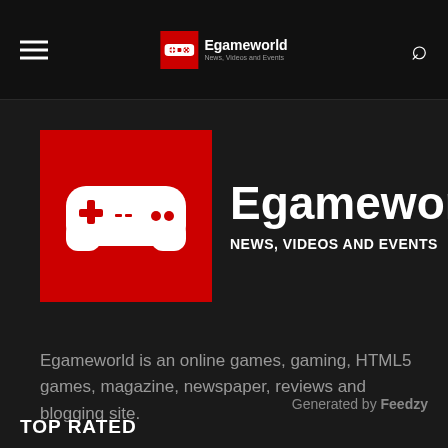Egameworld — News, Videos and Events (header navigation bar)
[Figure (logo): Egameworld logo: red square with white game controller icon, next to bold white text 'Egameworld' and subtitle 'NEWS, VIDEOS AND EVENTS']
Egameworld is an online games, gaming, HTML5 games, magazine, newspaper, reviews and blogging site.
Generated by Feedzy
TOP RATED